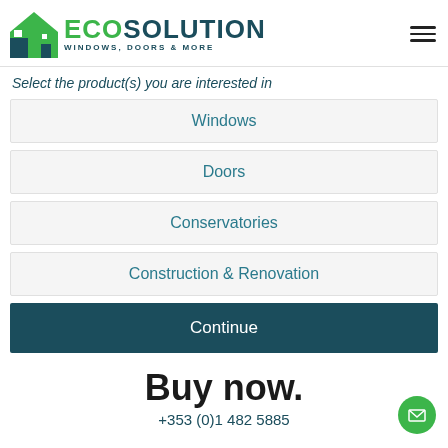[Figure (logo): ECOsolution Windows, Doors & More logo with green house icon]
Select the product(s) you are interested in
Windows
Doors
Conservatories
Construction & Renovation
Continue
Buy now.
+353 (0)1 482 5885